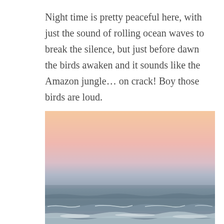Night time is pretty peaceful here, with just the sound of rolling ocean waves to break the silence, but just before dawn the birds awaken and it sounds like the Amazon jungle... on crack! Boy those birds are loud.
[Figure (photo): A beach/ocean photo taken at dawn or dusk. The sky shows a gradient from peach/orange at the top to pale pink and then a muted grayish-blue near the horizon. The ocean appears calm with gentle rolling waves and white foam visible in the foreground. The overall tone is soft and serene.]